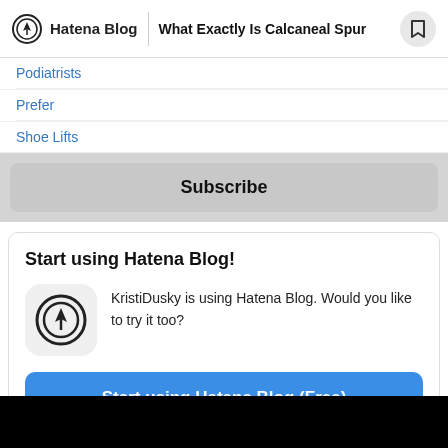Hatena Blog | What Exactly Is Calcaneal Spur
Podiatrists
Prefer
Shoe Lifts
Subscribe
Start using Hatena Blog!
KristiDusky is using Hatena Blog. Would you like to try it too?
Start using Hatena Blog (Free)
What is Hatena Blog?